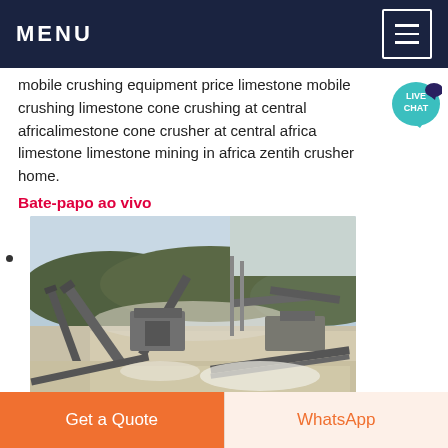MENU
mobile crushing equipment price limestone mobile crushing limestone cone crushing at central africalimestone cone crusher at central africa limestone limestone mining in africa zentih crusher home.
Bate-papo ao vivo
[Figure (photo): Aerial view of a limestone mining and crushing facility with conveyor belts, crushers, and dusty open-pit quarry environment.]
Limestone Mining Equipment
Get a Quote | WhatsApp